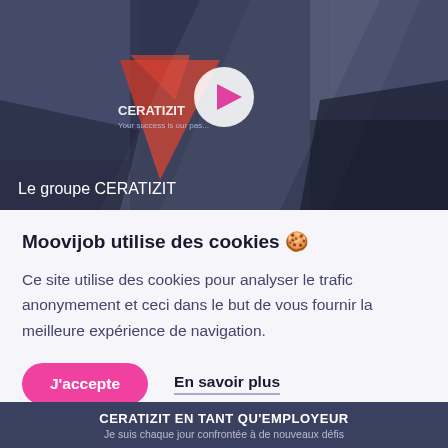[Figure (screenshot): Video thumbnail of CERATIZIT group promotional video showing people in industrial settings with geometric overlays, a play button in the center, and the text 'Le groupe CERATIZIT' at the bottom.]
Moovijob utilise des cookies 🍪
Ce site utilise des cookies pour analyser le trafic anonymement et ceci dans le but de vous fournir la meilleure expérience de navigation.
J'accepte   En savoir plus
CERATIZIT en tant qu'employeur Je suis chaque jour confrontée à de nouveaux défis